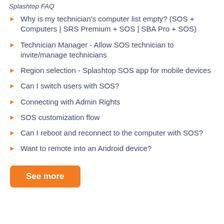Splashtop FAQ
Why is my technician's computer list empty? (SOS + Computers | SRS Premium + SOS | SBA Pro + SOS)
Technician Manager - Allow SOS technician to invite/manage technicians
Region selection - Splashtop SOS app for mobile devices
Can I switch users with SOS?
Connecting with Admin Rights
SOS customization flow
Can I reboot and reconnect to the computer with SOS?
Want to remote into an Android device?
See more